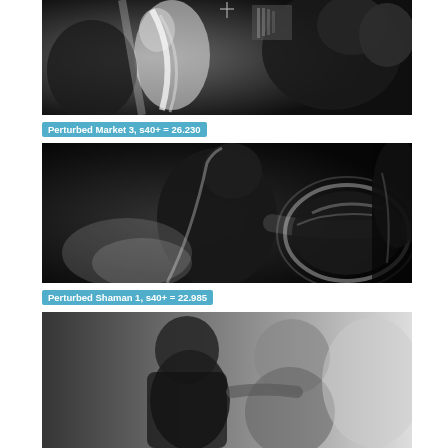[Figure (photo): Grayscale rendered scene - Perturbed Market 3, showing two figures in a dark environment with architectural/equipment elements in background]
Perturbed Market 3, s40+ = 26.230
[Figure (photo): Grayscale rendered scene - Perturbed Shaman 1, showing a figure reaching/grasping toward right with glowing edge artifacts]
Perturbed Shaman 1, s40+ = 22.985
[Figure (photo): Grayscale rendered scene - partially visible, showing two figures, one bald, in close proximity]